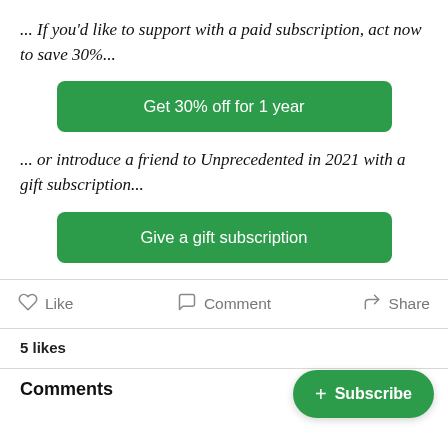... If you'd like to support with a paid subscription, act now to save 30%...
[Figure (other): Green button: Get 30% off for 1 year]
... or introduce a friend to Unprecedented in 2021 with a gift subscription...
[Figure (other): Green button: Give a gift subscription]
Like   Comment   Share
5 likes
Comments
[Figure (other): Green floating subscribe button: + Subscribe]